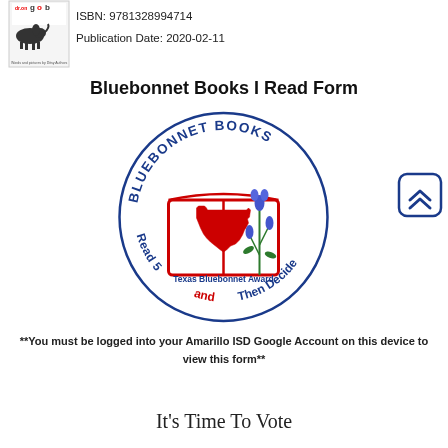[Figure (logo): Book cover thumbnail with dog illustration and logo for a children's book]
ISBN: 9781328994714
Publication Date: 2020-02-11
Bluebonnet Books I Read Form
[Figure (logo): Texas Bluebonnet Award circular logo with book, Texas shape, bluebonnet flowers, and text 'BLUEBONNET BOOKS' and 'Read 5 and Then Decide']
[Figure (other): Back to top button with double chevron up arrow, blue border rounded square]
**You must be logged into your Amarillo ISD Google Account on this device to view this form**
It's Time To Vote